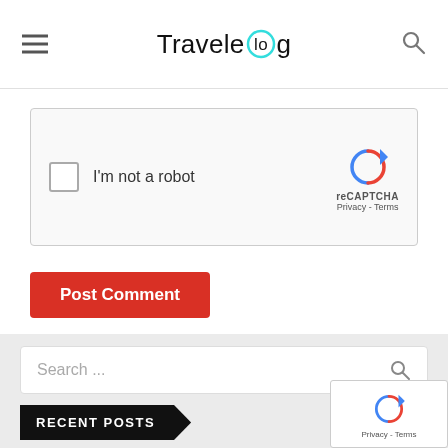Travelelog
[Figure (screenshot): reCAPTCHA widget with checkbox and 'I'm not a robot' label]
Post Comment
[Figure (screenshot): Search bar with placeholder 'Search ...' and search icon]
RECENT POSTS
Don Mueang-Pattaya shuttle bus launches
'Sight to behold': tourists flock to Florida for Moon rocket launch
Private jet use surging as rich avoid travel chaos